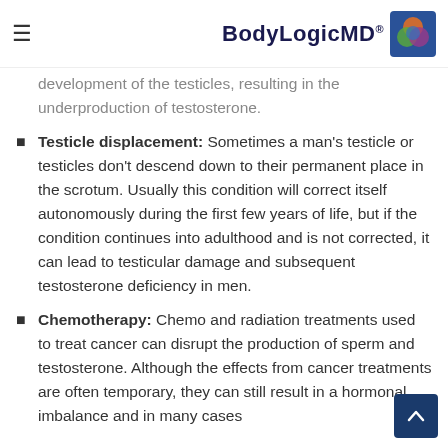BodyLogicMD®
development of the testicles, resulting in the underproduction of testosterone.
Testicle displacement: Sometimes a man's testicle or testicles don't descend down to their permanent place in the scrotum. Usually this condition will correct itself autonomously during the first few years of life, but if the condition continues into adulthood and is not corrected, it can lead to testicular damage and subsequent testosterone deficiency in men.
Chemotherapy: Chemo and radiation treatments used to treat cancer can disrupt the production of sperm and testosterone. Although the effects from cancer treatments are often temporary, they can still result in a hormonal imbalance and in many cases